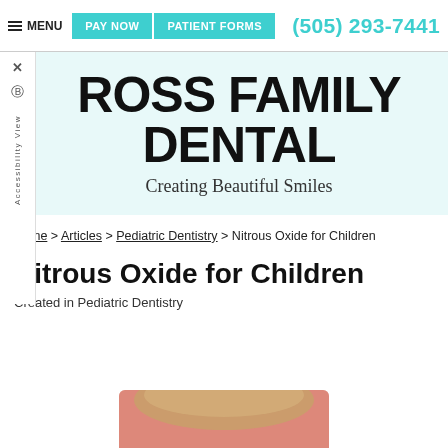≡ MENU  PAY NOW  PATIENT FORMS  (505) 293-7441
[Figure (logo): Ross Family Dental logo with teal background. Text: ROSS FAMILY DENTAL, Creating Beautiful Smiles]
Home > Articles > Pediatric Dentistry > Nitrous Oxide for Children
Nitrous Oxide for Children
Created in Pediatric Dentistry
[Figure (photo): Partial photo of a child's head/face at bottom of page]